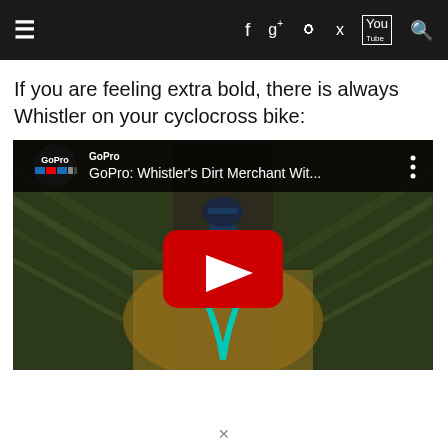≡  f  g+  ◎  🐦  You  🔍
If you are feeling extra bold, there is always Whistler on your cyclocross bike:
[Figure (screenshot): Embedded YouTube video thumbnail showing a GoPro video titled 'GoPro: Whistler's Dirt Merchant Wit...' with a cyclist on a mountain bike trail, featuring the YouTube play button overlay.]